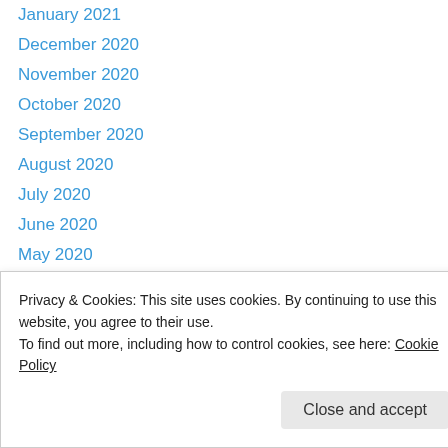January 2021
December 2020
November 2020
October 2020
September 2020
August 2020
July 2020
June 2020
May 2020
March 2020
February 2020
February 2018
January 2018
Privacy & Cookies: This site uses cookies. By continuing to use this website, you agree to their use.
To find out more, including how to control cookies, see here: Cookie Policy